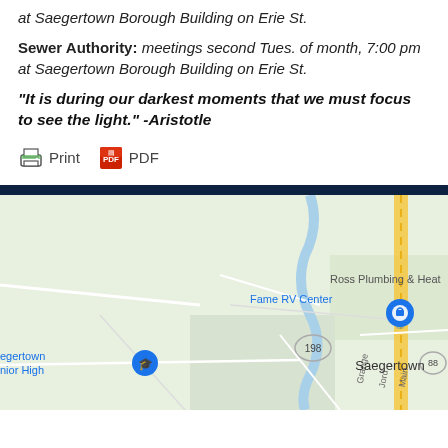at Saegertown Borough Building on Erie St.
Sewer Authority: meetings second Tues. of month, 7:00 pm at Saegertown Borough Building on Erie St.
“It is during our darkest moments that we must focus to see the light.” -Aristotle
[Figure (screenshot): Print and PDF buttons with icons]
[Figure (map): Google Maps screenshot showing Saegertown area with landmarks including Fame RV Center, Saegertown Junior High, Ross Plumbing & Heat, and roads including Route 198 and Route 88.]